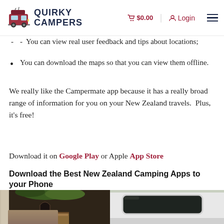QUIRKY CAMPERS | $0.00 | Login
You can view real user feedback and tips about locations;
You can download the maps so that you can view them offline.
We really like the Campermate app because it has a really broad range of information for you on your New Zealand travels.  Plus, it's free!
Download it on Google Play or Apple App Store
Download the Best New Zealand Camping Apps to your Phone
[Figure (photo): Two side-by-side photos of camper vans: left shows bohemian interior with kitchen and curtains, right shows exterior of white van with large window]